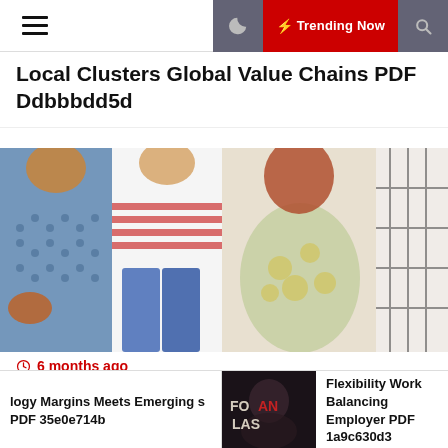☰ | 🌙 | ⚡ Trending Now | 🔍
Local Clusters Global Value Chains PDF Ddbbbdd5d
[Figure (photo): Fashion photo strip showing four women in different outfits: blue knit sweater with orange bag, red and white striped cardigan with jeans, floral sundress, and black and white plaid shirt]
6 months ago
Coalitions Compliance Political Economy Pharmaceutical PDF A80600b28
logy Margins Meets Emerging s PDF 35e0e714b
[Figure (photo): Dark thumbnail image with text overlay]
Flexibility Work Balancing Employer PDF 1a9c630d3